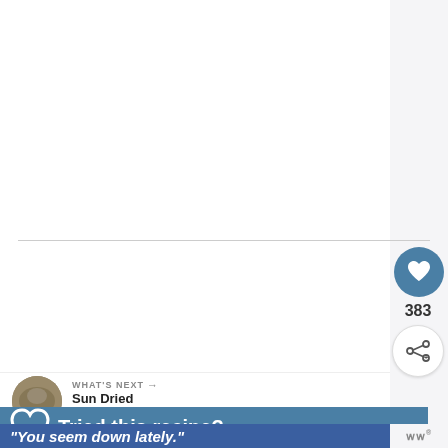[Figure (screenshot): Search keyword section with magnifying glass icon, label KEYWORD, and value 'sun dried tomatoes']
KEYWORD
sun dried tomatoes
[Figure (screenshot): Heart/like button (blue circle with heart icon) showing count 383, and share button below]
383
WHAT'S NEXT → Sun Dried Tomato Turk...
Tried this recipe?
"You seem down lately."